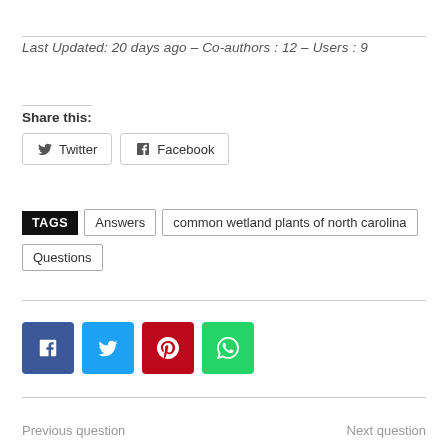Last Updated: 20 days ago – Co-authors : 12 – Users : 9
Share this:
[Figure (other): Social share buttons: Twitter and Facebook]
TAGS  Answers  common wetland plants of north carolina  Questions
[Figure (other): Social media icon buttons: Facebook (blue), Twitter (light blue), Pinterest (red), WhatsApp (green)]
Previous question    Next question